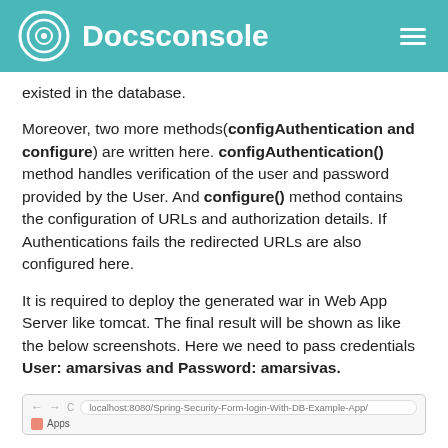Docsconsole
existed in the database.
Moreover, two more methods(configAuthentication and configure) are written here. configAuthentication() method handles verification of the user and password provided by the User. And configure() method contains the configuration of URLs and authorization details. If Authentications fails the redirected URLs are also configured here.
It is required to deploy the generated war in Web App Server like tomcat. The final result will be shown as like the below screenshots. Here we need to pass credentials User: amarsivas and Password: amarsivas.
[Figure (screenshot): Browser screenshot showing address bar with URL: localhost:8080/Spring-Security-Form-login-With-DB-Example-App/ and a tab labeled Apps]